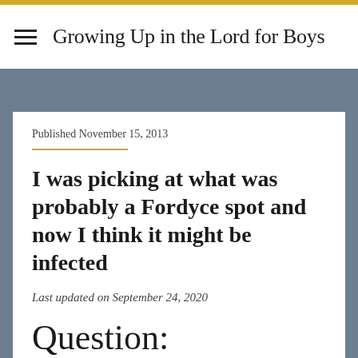Growing Up in the Lord for Boys
Published November 15, 2013
I was picking at what was probably a Fordyce spot and now I think it might be infected
Last updated on September 24, 2020
Question: